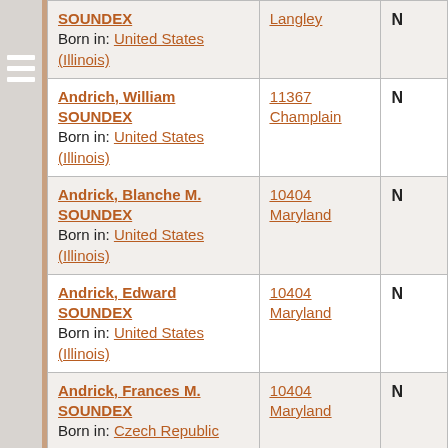| Name / Birth | Location |  |
| --- | --- | --- |
| SOUNDEX
Born in: United States (Illinois) | Langley | N |
| Andrich, William SOUNDEX
Born in: United States (Illinois) | 11367 Champlain | N |
| Andrick, Blanche M. SOUNDEX
Born in: United States (Illinois) | 10404 Maryland | N |
| Andrick, Edward SOUNDEX
Born in: United States (Illinois) | 10404 Maryland | N |
| Andrick, Frances M. SOUNDEX
Born in: Czech Republic | 10404 Maryland | N |